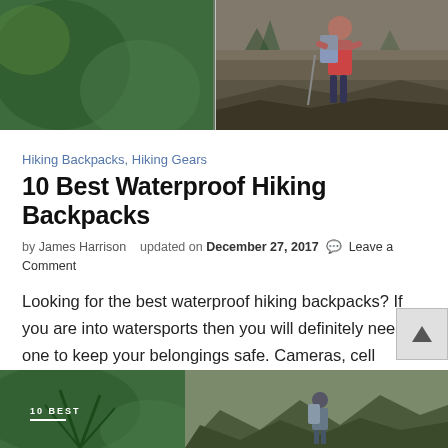[Figure (photo): Hero image showing a hiker with a backpack on rocky terrain, split view with green foliage on the left and a hiker on right side]
Hiking Backpacks, Hiking Gears
10 Best Waterproof Hiking Backpacks
by James Harrison   updated on December 27, 2017  💬  Leave a Comment
Looking for the best waterproof hiking backpacks? If you are into watersports then you will definitely need one to keep your belongings safe. Cameras, cell phones or wallets do not gel with water. So be …
[Figure (photo): Bottom image showing a hiker with backpack viewed from behind, with green foliage on left and mountain landscape on right, with '10 BEST' text overlay]